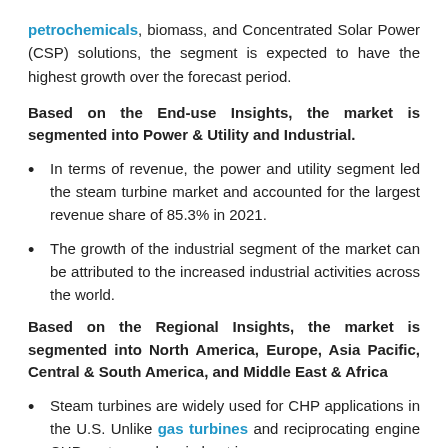petrochemicals, biomass, and Concentrated Solar Power (CSP) solutions, the segment is expected to have the highest growth over the forecast period.
Based on the End-use Insights, the market is segmented into Power & Utility and Industrial.
In terms of revenue, the power and utility segment led the steam turbine market and accounted for the largest revenue share of 85.3% in 2021.
The growth of the industrial segment of the market can be attributed to the increased industrial activities across the world.
Based on the Regional Insights, the market is segmented into North America, Europe, Asia Pacific, Central & South America, and Middle East & Africa
Steam turbines are widely used for CHP applications in the U.S. Unlike gas turbines and reciprocating engine CHP systems wherein heat is